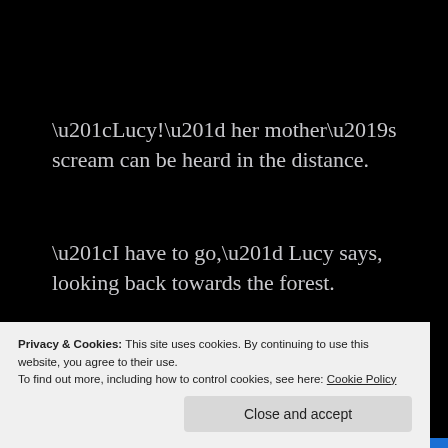“Lucy!” her mother’s scream can be heard in the distance.
“I have to go,” Lucy says, looking back towards the forest.
“No. There is nothing to be afraid of,” a devilish voice says in her subconscious.
“Who are you?” she asks, looking up at the tall figure.
Privacy & Cookies: This site uses cookies. By continuing to use this website, you agree to their use.
To find out more, including how to control cookies, see here: Cookie Policy
Close and accept